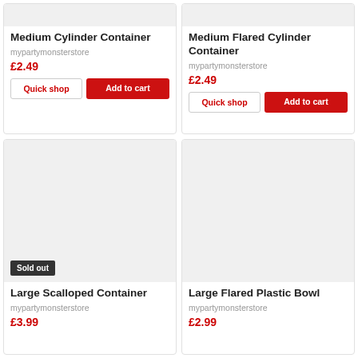[Figure (photo): Product image placeholder for Medium Cylinder Container]
Medium Cylinder Container
mypartymonsterstore
£2.49
[Figure (photo): Product image placeholder for Medium Flared Cylinder Container]
Medium Flared Cylinder Container
mypartymonsterstore
£2.49
[Figure (photo): Product image placeholder for Large Scalloped Container, with Sold out badge]
Large Scalloped Container
mypartymonsterstore
£3.99
[Figure (photo): Product image placeholder for Large Flared Plastic Bowl]
Large Flared Plastic Bowl
mypartymonsterstore
£2.99